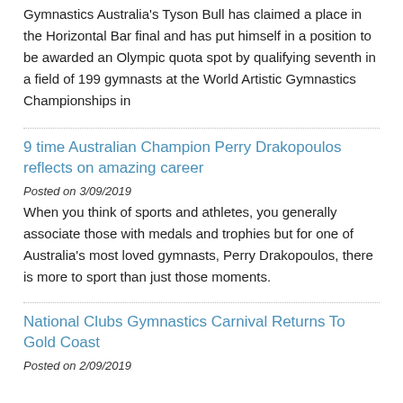Gymnastics Australia's Tyson Bull has claimed a place in the Horizontal Bar final and has put himself in a position to be awarded an Olympic quota spot by qualifying seventh in a field of 199 gymnasts at the World Artistic Gymnastics Championships in
9 time Australian Champion Perry Drakopoulos reflects on amazing career
Posted on 3/09/2019
When you think of sports and athletes, you generally associate those with medals and trophies but for one of Australia's most loved gymnasts, Perry Drakopoulos, there is more to sport than just those moments.
National Clubs Gymnastics Carnival Returns To Gold Coast
Posted on 2/09/2019